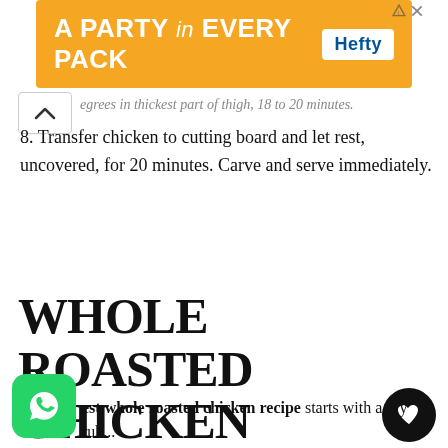[Figure (other): Orange advertisement banner for Hefty brand reading 'A PARTY in EVERY PACK' with Hefty logo on right]
... degrees in thickest part of thigh, 18 to 20 minutes.
8. Transfer chicken to cutting board and let rest, uncovered, for 20 minutes. Carve and serve immediately.
WHOLE ROASTED CHICKEN {SUPER CRISPY SKIN!}
The best whole roasted chicken recipe starts with a dry rub...